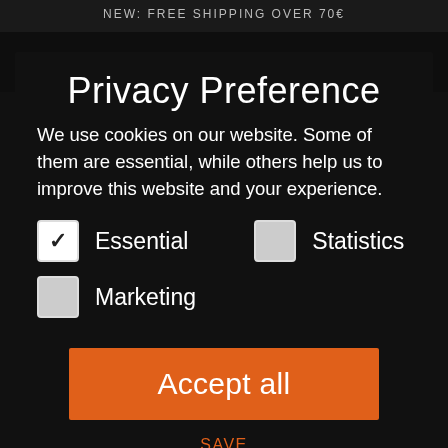NEW: FREE SHIPPING OVER 70€
Privacy Preference
We use cookies on our website. Some of them are essential, while others help us to improve this website and your experience.
Essential (checked)
Statistics (unchecked)
Marketing (unchecked)
Accept all
Save
Individual Privacy Preferences
Cookie Details